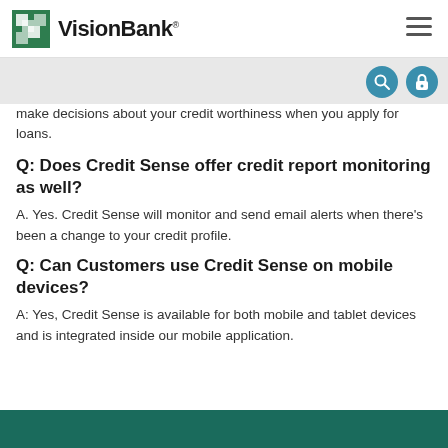VisionBank
make decisions about your credit worthiness when you apply for loans.
Q: Does Credit Sense offer credit report monitoring as well?
A. Yes. Credit Sense will monitor and send email alerts when there's been a change to your credit profile.
Q: Can Customers use Credit Sense on mobile devices?
A: Yes, Credit Sense is available for both mobile and tablet devices and is integrated inside our mobile application.